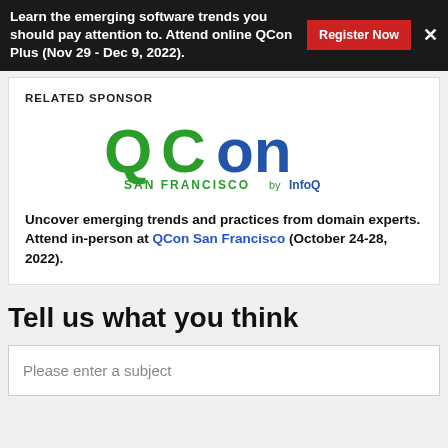Learn the emerging software trends you should pay attention to. Attend online QCon Plus (Nov 29 - Dec 9, 2022).
RELATED SPONSOR
[Figure (logo): QCon San Francisco by InfoQ logo — Q and C in green, on in blue, SAN FRANCISCO by InfoQ below]
Uncover emerging trends and practices from domain experts. Attend in-person at QCon San Francisco (October 24-28, 2022).
Tell us what you think
Please enter a subject